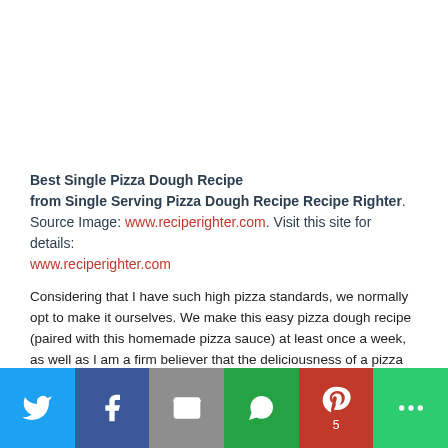Best Single Pizza Dough Recipe from Single Serving Pizza Dough Recipe Recipe Righter. Source Image: www.reciperighter.com. Visit this site for details: www.reciperighter.com
Considering that I have such high pizza standards, we normally opt to make it ourselves. We make this easy pizza dough recipe (paired with this homemade pizza sauce) at least once a week, as well as I am a firm believer that the deliciousness of a pizza depends on the quality of it's crust.
[Figure (infographic): Social sharing bar with Twitter, Facebook, Email, WhatsApp, Pinterest (5 shares), and More buttons]